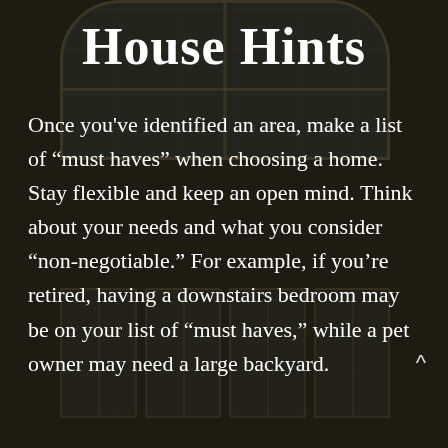[Figure (photo): Background photo of a modern building facade with large arched windows and reflective glass, taken at dusk with dark tones]
House Hints
Once you’ve identified an area, make a list of “must haves” when choosing a home. Stay flexible and keep an open mind. Think about your needs and what you consider “non-negotiable.” For example, if you’re retired, having a downstairs bedroom may be on your list of “must haves,” while a pet owner may need a large backyard.